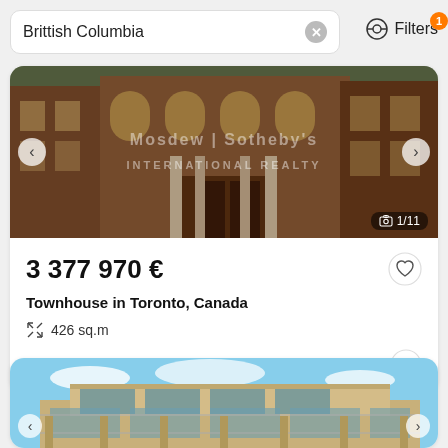Brittish Columbia
Filters 1
[Figure (photo): Brownstone townhouse exterior, brick facade, Toronto]
3 377 970 €
Townhouse in Toronto, Canada
426 sq.m
Russia Sotheby's International Realty
[Figure (photo): Modern contemporary house exterior with glass facade and balconies]